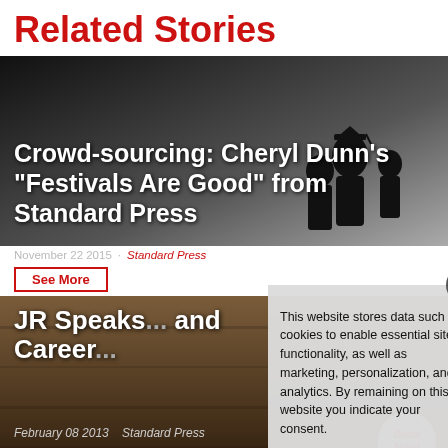Related Stories
[Figure (photo): Dark silhouette photo of crowd at festival, grayscale]
Crowd-sourcing: Cheryl Dunn's "Festivals Are Good" from Standard Press
November 22 2015  Standard Press
See More
[Figure (photo): Photo background of stone/wall texture, dark brown tones]
JR Speaks... and Career...
February 08 2013   Standard Press
See More
This website stores data such as cookies to enable essential site functionality, as well as marketing, personalization, and analytics. By remaining on this website you indicate your consent.
Privacy Policy